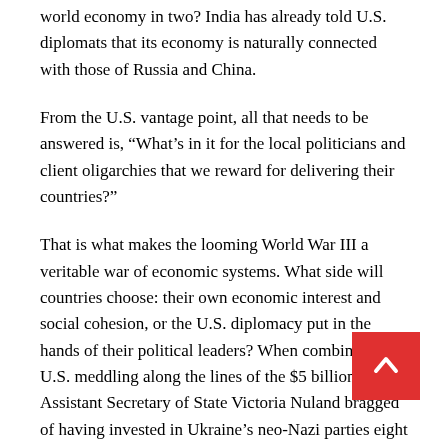world economy in two? India has already told U.S. diplomats that its economy is naturally connected with those of Russia and China.
From the U.S. vantage point, all that needs to be answered is, “What’s in it for the local politicians and client oligarchies that we reward for delivering their countries?”
That is what makes the looming World War III a veritable war of economic systems. What side will countries choose: their own economic interest and social cohesion, or the U.S. diplomacy put in the hands of their political leaders? When combined with U.S. meddling along the lines of the $5 billion that Assistant Secretary of State Victoria Nuland bragged of having invested in Ukraine’s neo-Nazi parties eight years ago to initiate the fighting erupting in today’s war, there is a lot to consider.
In the face of all this political meddling and media propaganda, how long will it take the rest of the world to realize that there’s a global war on as it expands into World War III? The real